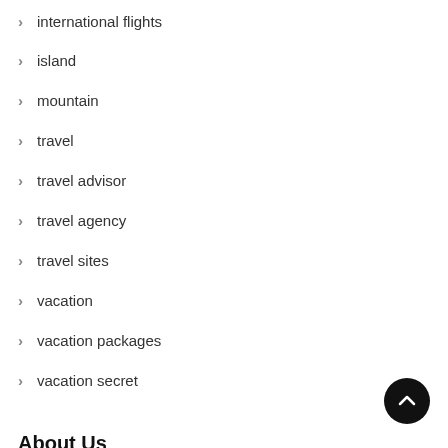international flights
island
mountain
travel
travel advisor
travel agency
travel sites
vacation
vacation packages
vacation secret
About Us
Sitemap